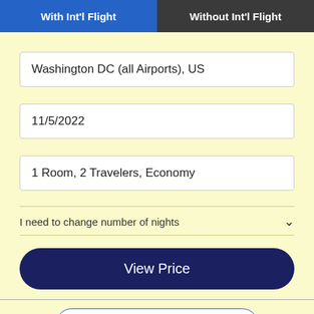With Int'l Flight
Without Int'l Flight
Washington DC (all Airports), US
11/5/2022
1 Room, 2 Travelers, Economy
I need to change number of nights
View Price
ADVANCED